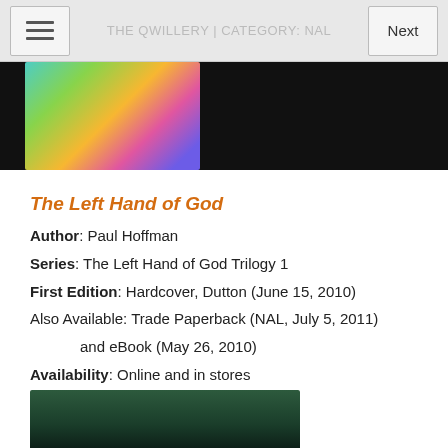THE QWILLERY | CATEGORY: NAL
[Figure (photo): Colorful abstract book cover image on dark background]
The Left Hand of God
Author:  Paul Hoffman
Series:  The Left Hand of God Trilogy 1
First Edition:  Hardcover, Dutton (June 15, 2010)
Also Available:  Trade Paperback (NAL, July 5, 2011) and eBook (May 26, 2010)
Availability:  Online and in stores
ISBN:  9780451231888
Brief History
[Figure (photo): Book cover image at bottom of page]